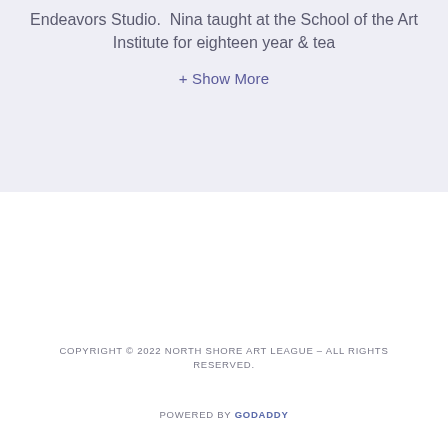Endeavors Studio.  Nina taught at the School of the Art Institute for eighteen year & tea
+ Show More
COPYRIGHT © 2022 NORTH SHORE ART LEAGUE – ALL RIGHTS RESERVED.
POWERED BY GODADDY